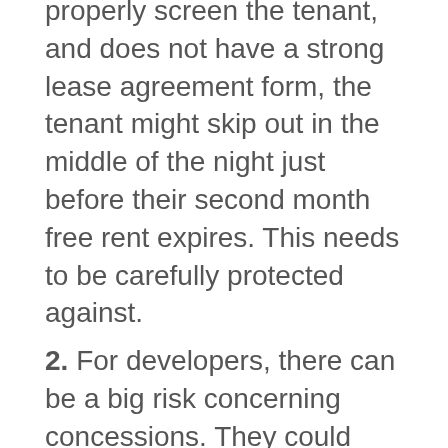properly screen the tenant, and does not have a strong lease agreement form, the tenant might skip out in the middle of the night just before their second month free rent expires. This needs to be carefully protected against.
2. For developers, there can be a big risk concerning concessions. They could have gotten financing based on a certain amount of rent. With a market that is becoming saturated, to have to give away 15% of needed rents, could have very negative economic